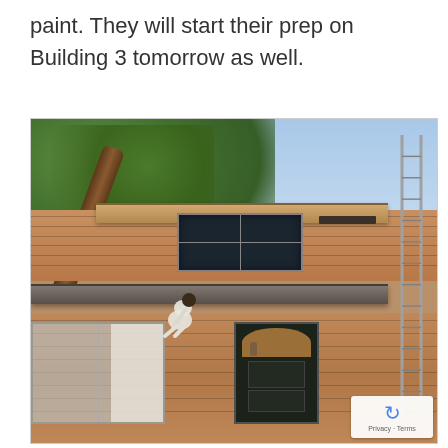paint. They will start their prep on Building 3 tomorrow as well.
[Figure (photo): A worker in white clothing crouches on a roofline of a two-story residential building with tan/brown horizontal siding, preparing to paint. A tall ladder leans against the right side of the building. Trees are visible in the background above the roof. A reCAPTCHA badge with 'Privacy · Terms' appears in the bottom-right corner of the photo.]